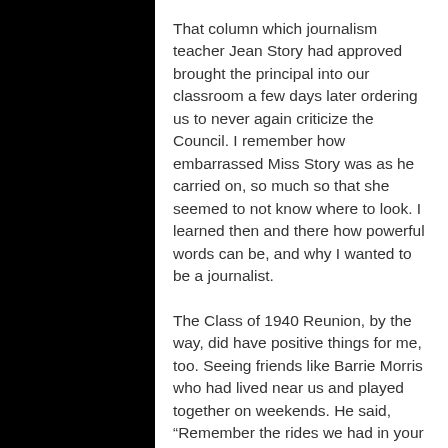That column which journalism teacher Jean Story had approved brought the principal into our classroom a few days later ordering us to never again criticize the Council. I remember how embarrassed Miss Story was as he carried on, so much so that she seemed to not know where to look. I learned then and there how powerful words can be, and why I wanted to be a journalist.
The Class of 1940 Reunion, by the way, did have positive things for me, too. Seeing friends like Barrie Morris who had lived near us and played together on weekends. He said, “Remember the rides we had in your Dad’s pickup truck?” (Dad had been a landscape gardener so was among the relatively few issei back then to own a vehicle—which was a Model A Ford pickup that took us everywhere.)
On a wheelchair, bandaged from a recent operation, was Earl Heisler who was the tallest in our Senior class. Earl could always...